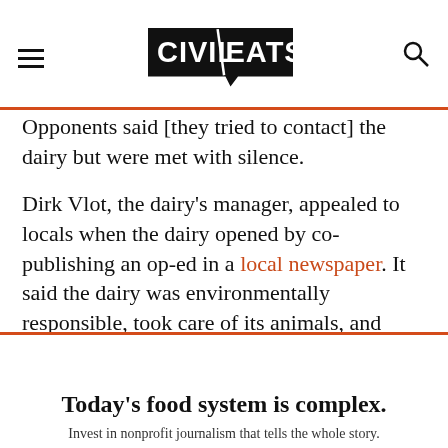Civil Eats
Opponents said [they tried to contact] the dairy but were met with silence.
Dirk Vlot, the dairy's manager, appealed to locals when the dairy opened by co-publishing an op-ed in a local newspaper. It said the dairy was environmentally responsible, took care of its animals, and tried to address local concerns. It read in part:
Today's food system is complex.
Invest in nonprofit journalism that tells the whole story.